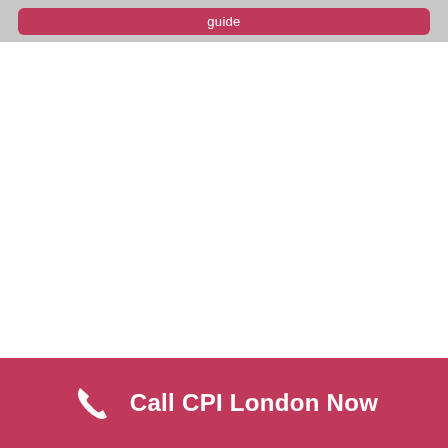[Figure (other): A rounded rectangle button with crimson/dark pink background containing the text 'guide' in white, set within a light grey container bar at the top of the page.]
Call CPI London Now